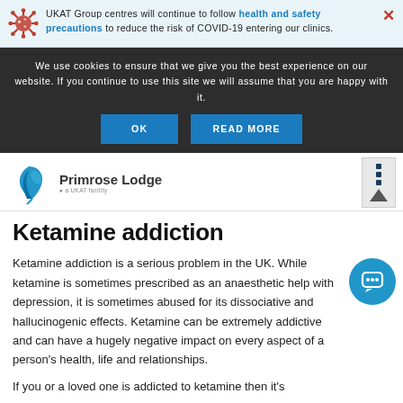UKAT Group centres will continue to follow health and safety precautions to reduce the risk of COVID-19 entering our clinics.
We use cookies to ensure that we give you the best experience on our website. If you continue to use this site we will assume that you are happy with it.
OK
READ MORE
[Figure (logo): Primrose Lodge logo - a UKAT facility, with blue leaf icon]
Ketamine addiction
Ketamine addiction is a serious problem in the UK. While ketamine is sometimes prescribed as an anaesthetic help with depression, it is sometimes abused for its dissociative and hallucinogenic effects. Ketamine can be extremely addictive and can have a hugely negative impact on every aspect of a person's health, life and relationships.
If you or a loved one is addicted to ketamine then it's